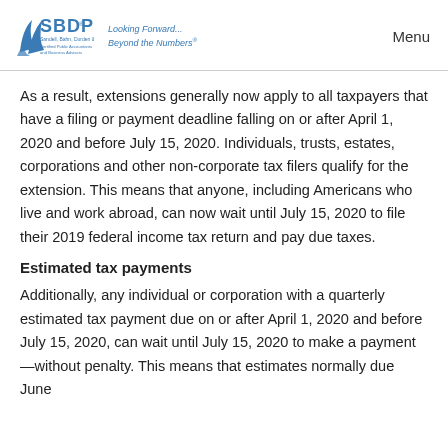SBDP — Sandell, Bahn, Durden & Phillips, P. — Looking Forward... Beyond the Numbers — Menu
As a result, extensions generally now apply to all taxpayers that have a filing or payment deadline falling on or after April 1, 2020 and before July 15, 2020. Individuals, trusts, estates, corporations and other non-corporate tax filers qualify for the extension. This means that anyone, including Americans who live and work abroad, can now wait until July 15, 2020 to file their 2019 federal income tax return and pay due taxes.
Estimated tax payments
Additionally, any individual or corporation with a quarterly estimated tax payment due on or after April 1, 2020 and before July 15, 2020, can wait until July 15, 2020 to make a payment—without penalty. This means that estimates normally due June